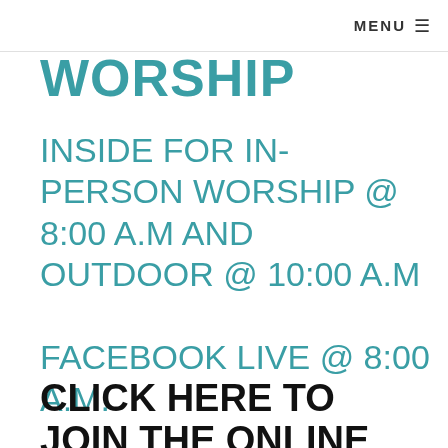MENU ☰
WORSHIP
INSIDE FOR IN-PERSON WORSHIP @ 8:00 A.M AND OUTDOOR @ 10:00 A.M

FACEBOOK LIVE @ 8:00 A.M.
CLICK HERE TO JOIN THE ONLINE SERVICE VIA